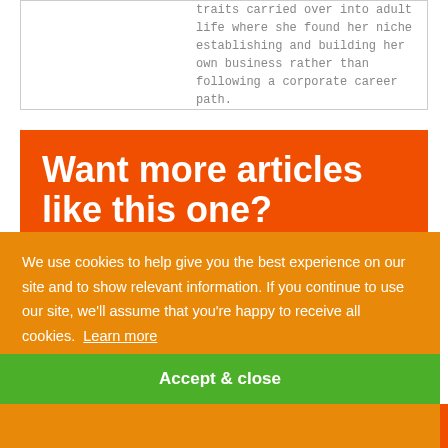traits carried over into adult life where she found her niche establishing and building her own business rather than following a corporate career path.
Want more articles like this one?
We use cookies to help give you the best experience on our site and to show relevant information. If you continue to use our site, we'll assume that you're happy to receive all cookies. Learn more
Accept & close